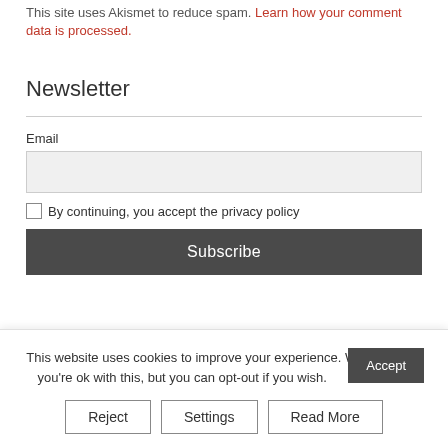This site uses Akismet to reduce spam. Learn how your comment data is processed.
Newsletter
Email
By continuing, you accept the privacy policy
Subscribe
This website uses cookies to improve your experience. We'll assume you're ok with this, but you can opt-out if you wish.
Accept
Reject
Settings
Read More